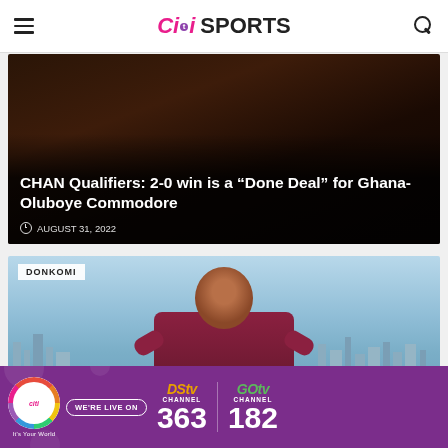Citi SPORTS
[Figure (photo): Dark-skinned man close-up photo used as background for article about CHAN Qualifiers]
CHAN Qualifiers: 2-0 win is a “Done Deal” for Ghana- Oluboye Commodore
AUGUST 31, 2022
[Figure (photo): Football player in West Ham maroon jersey pointing both index fingers upward, city skyline in background]
DONKOMI
[Figure (infographic): Citi TV advertisement banner: WE'RE LIVE ON DStv Channel 363 and GOtv Channel 182]